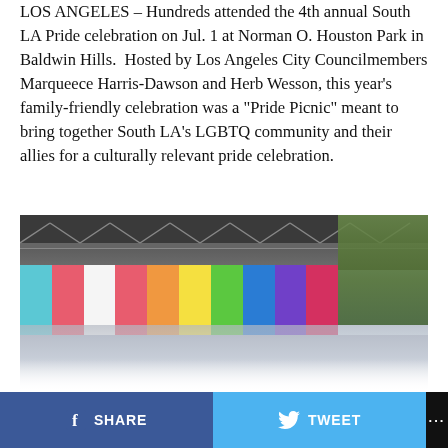LOS ANGELES – Hundreds attended the 4th annual South LA Pride celebration on Jul. 1 at Norman O. Houston Park in Baldwin Hills. Hosted by Los Angeles City Councilmembers Marqueece Harris-Dawson and Herb Wesson, this year's family-friendly celebration was a "Pride Picnic" meant to bring together South LA's LGBTQ community and their allies for a culturally relevant pride celebration.
[Figure (photo): Outdoor event stage with rainbow-colored vertical banners hanging from a metal truss roof structure. Trees visible in background on right. People/crowd silhouettes visible at bottom, fading to white.]
CONTINUE READING
SHARE  TWEET  ···